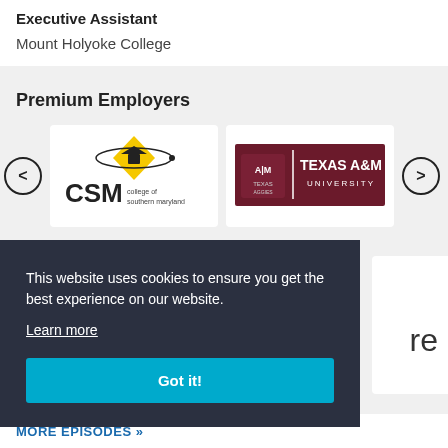Executive Assistant
Mount Holyoke College
Premium Employers
[Figure (logo): CSM College of Southern Maryland logo with yellow diamond shape and orbital graphic]
[Figure (logo): Texas A&M University logo on dark maroon background with ATM seal]
This website uses cookies to ensure you get the best experience on our website.
Learn more
Got it!
MORE EPISODES »